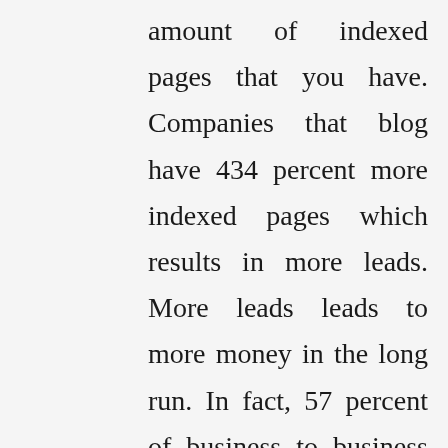amount of indexed pages that you have. Companies that blog have 434 percent more indexed pages which results in more leads. More leads leads to more money in the long run. In fact, 57 percent of business to business marketers say that the services offered by seo reseller programs has the largest influence on their lead generation.